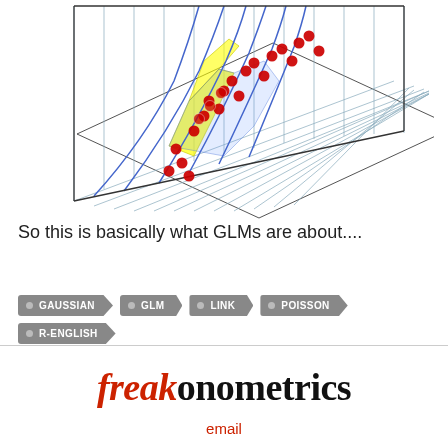[Figure (other): 3D statistical visualization showing a perspective grid with blue curve lines, red scatter dots, yellow highlighted region, and a shaded blue area — illustrating GLM (Generalized Linear Model) concept.]
So this is basically what GLMs are about....
GAUSSIAN
GLM
LINK
POISSON
R-ENGLISH
freakonometrics
email